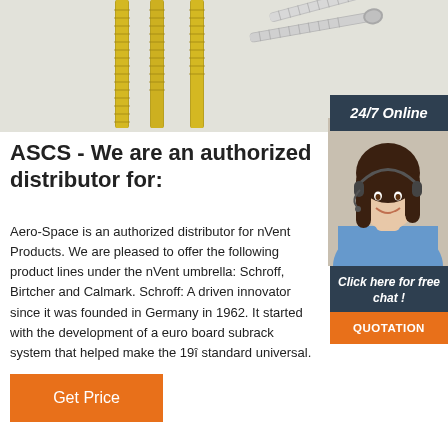[Figure (photo): Photo of multiple screws on white background — gold/yellow screws standing upright and silver screws lying flat]
[Figure (photo): Dark blue/navy box with white italic text '24/7 Online']
[Figure (photo): Photo of a smiling female customer service representative wearing a headset and blue shirt]
[Figure (photo): Dark blue/navy box with white italic text 'Click here for free chat !']
[Figure (photo): Orange button with white uppercase text 'QUOTATION']
ASCS - We are an authorized distributor for:
Aero-Space is an authorized distributor for nVent Products. We are pleased to offer the following product lines under the nVent umbrella: Schroff, Birtcher and Calmark. Schroff: A driven innovator since it was founded in Germany in 1962. It started with the development of a euro board subrack system that helped make the 19î standard universal.
[Figure (other): Orange 'Get Price' button]